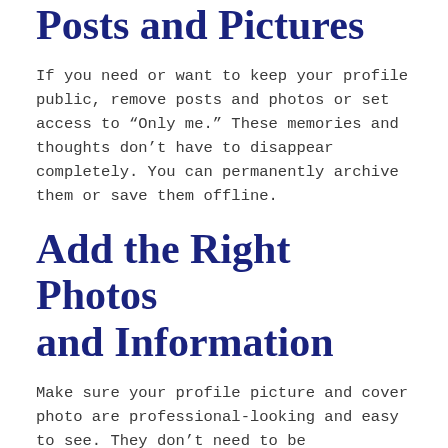Posts and Pictures
If you need or want to keep your profile public, remove posts and photos or set access to “Only me.” These memories and thoughts don’t have to disappear completely. You can permanently archive them or save them offline.
Add the Right Photos and Information
Make sure your profile picture and cover photo are professional-looking and easy to see. They don’t need to be professional headshots, but a good, clear selfie goes a long way toward making an excellent first impression.
Include a professional bio that introduces you and